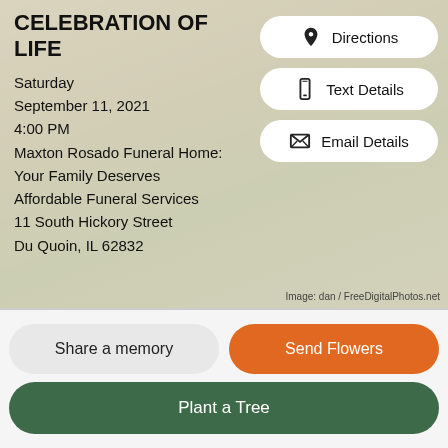CELEBRATION OF LIFE
Saturday
September 11, 2021
4:00 PM
Maxton Rosado Funeral Home:
Your Family Deserves Affordable Funeral Services
11 South Hickory Street
Du Quoin, IL 62832
[Figure (other): Button with road/directions icon labeled Directions]
[Figure (other): Button with phone icon labeled Text Details]
[Figure (other): Button with envelope icon labeled Email Details]
Image: dan / FreeDigitalPhotos.net
[Figure (other): Button labeled Share a memory]
[Figure (other): Button labeled Send Flowers (orange)]
[Figure (other): Button labeled Plant a Tree (dark green)]